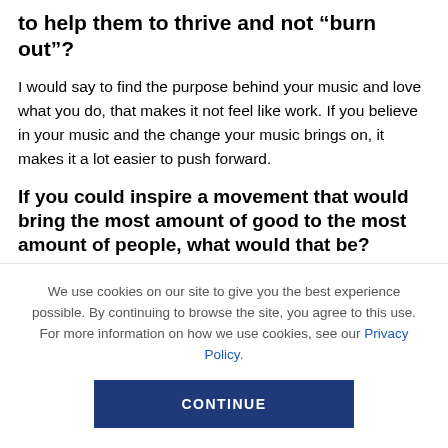to help them to thrive and not “burn out”?
I would say to find the purpose behind your music and love what you do, that makes it not feel like work. If you believe in your music and the change your music brings on, it makes it a lot easier to push forward.
If you could inspire a movement that would bring the most amount of good to the most amount of people, what would that be?
I would like to...
We use cookies on our site to give you the best experience possible. By continuing to browse the site, you agree to this use. For more information on how we use cookies, see our Privacy Policy.
CONTINUE